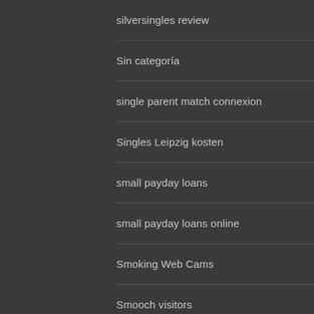silversingles review
Sin categoría
single parent match connexion
Singles Leipzig kosten
small payday loans
small payday loans online
Smoking Web Cams
Smooch visitors
snapmilfs es review